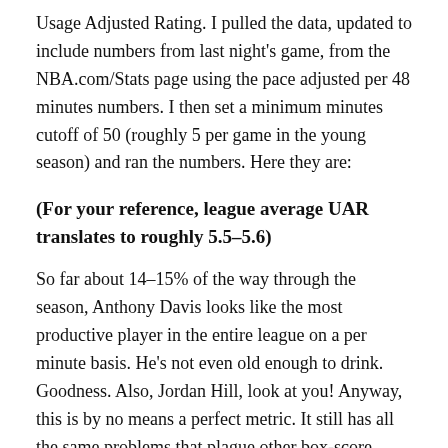Usage Adjusted Rating. I pulled the data, updated to include numbers from last night's game, from the NBA.com/Stats page using the pace adjusted per 48 minutes numbers. I then set a minimum minutes cutoff of 50 (roughly 5 per game in the young season) and ran the numbers. Here they are:
(For your reference, league average UAR translates to roughly 5.5–5.6)
So far about 14–15% of the way through the season, Anthony Davis looks like the most productive player in the entire league on a per minute basis. He's not even old enough to drink. Goodness. Also, Jordan Hill, look at you! Anyway, this is by no means a perfect metric. It still has all the same problems that plague other box-score based metrics- namely, not properly evaluating defense- but it's another fun way to look at it. I plan to try to keep the numbers updated regularly while at sea (there will b...